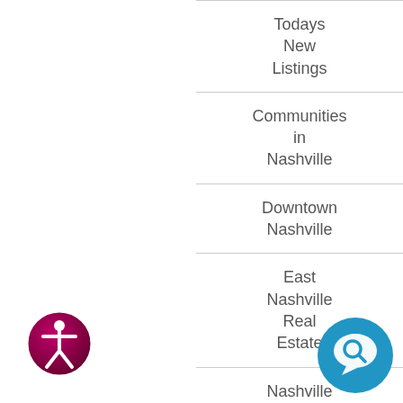Todays New Listings
Communities in Nashville
Downtown Nashville
East Nashville Real Estate
Nashville Real Estate
[Figure (illustration): Accessibility icon: circular button with person/human figure silhouette, dark pink/magenta gradient circle with white border]
[Figure (illustration): Chat/support icon: blue circle with white speech bubble and magnifying glass symbol]